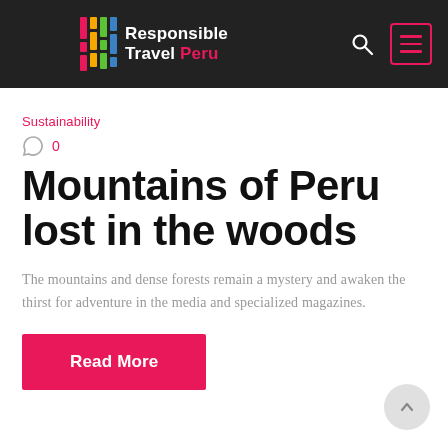Responsible Travel Peru
Sustainability
0
Mountains of Peru lost in the woods
The mountains and dense forests remain a mystery and awaken the thirst for adventure in the media and specialized magazines.
Read More